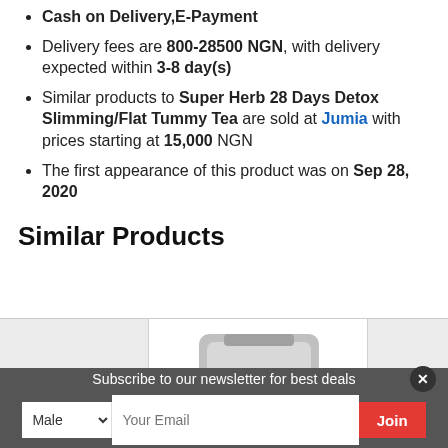Cash on Delivery,E-Payment
Delivery fees are 800-28500 NGN, with delivery expected within 3-8 day(s)
Similar products to Super Herb 28 Days Detox Slimming/Flat Tummy Tea are sold at Jumia with prices starting at 15,000 NGN
The first appearance of this product was on Sep 28, 2020
Similar Products
[Figure (photo): Product image of Super Herb 28 Days Detox Tea bag in silver/green packaging]
Subscribe to our newsletter for best deals
Male  Your Email  Join